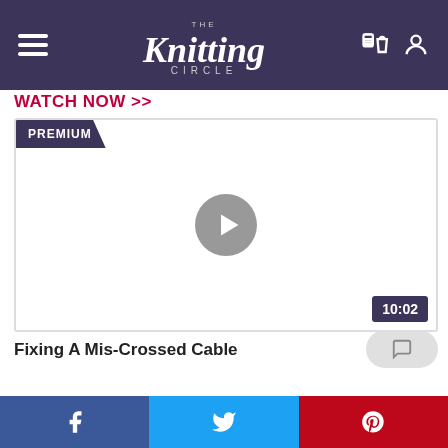The Knitting Circle
WATCH NOW >>
[Figure (screenshot): Video player with PREMIUM badge in top-left, gray play button in center, duration badge showing 10:02 in bottom-right]
Fixing A Mis-Crossed Cable
Share on Facebook, Twitter, Pinterest